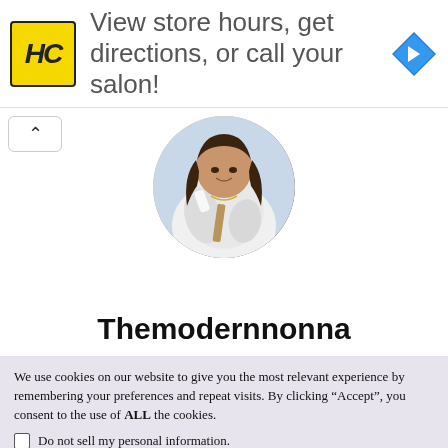[Figure (infographic): Advertisement banner: HC logo (yellow square with black HC letters), text 'View store hours, get directions, or call your salon!' and a blue diamond navigation arrow icon]
[Figure (photo): Circular profile photo of a young woman with long dark hair, wearing a white puffer jacket and necklaces, holding something white, outdoors]
Themodernnonna
We use cookies on our website to give you the most relevant experience by remembering your preferences and repeat visits. By clicking “Accept”, you consent to the use of ALL the cookies.
Do not sell my personal information.
Cookie Settings   Accept